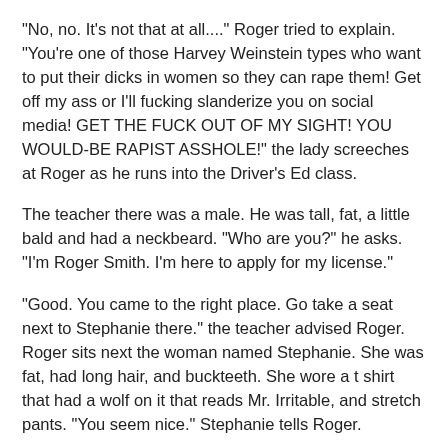"No, no. It's not that at all...." Roger tried to explain. "You're one of those Harvey Weinstein types who want to put their dicks in women so they can rape them! Get off my ass or I'll fucking slanderize you on social media! GET THE FUCK OUT OF MY SIGHT! YOU WOULD-BE RAPIST ASSHOLE!" the lady screeches at Roger as he runs into the Driver's Ed class.
The teacher there was a male. He was tall, fat, a little bald and had a neckbeard. "Who are you?" he asks. "I'm Roger Smith. I'm here to apply for my license."
"Good. You came to the right place. Go take a seat next to Stephanie there." the teacher advised Roger. Roger sits next the woman named Stephanie. She was fat, had long hair, and buckteeth. She wore a t shirt that had a wolf on it that reads Mr. Irritable, and stretch pants. "You seem nice." Stephanie tells Roger.